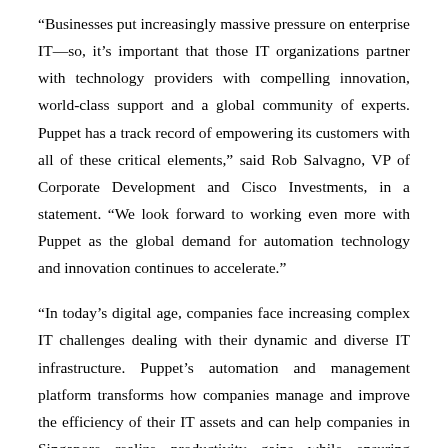“Businesses put increasingly massive pressure on enterprise IT—so, it’s important that those IT organizations partner with technology providers with compelling innovation, world-class support and a global community of experts. Puppet has a track record of empowering its customers with all of these critical elements,” said Rob Salvagno, VP of Corporate Development and Cisco Investments, in a statement. “We look forward to working even more with Puppet as the global demand for automation technology and innovation continues to accelerate.”
“In today’s digital age, companies face increasing complex IT challenges dealing with their dynamic and diverse IT infrastructure. Puppet’s automation and management platform transforms how companies manage and improve the efficiency of their IT assets and can help companies in Singapore realize productivity gains while ensuring compliance,” said Swee-Yeok